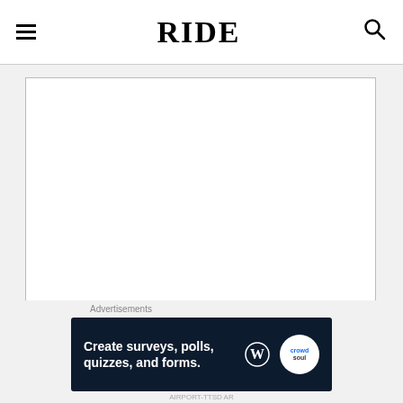RIDE
[Figure (screenshot): Comment textarea input box, empty, with resize handle in bottom-right corner]
Name *
[Figure (screenshot): Name text input field, empty]
Advertisements
[Figure (infographic): Advertisement banner: 'Create surveys, polls, quizzes, and forms.' with WordPress logo and a circular icon on dark navy background]